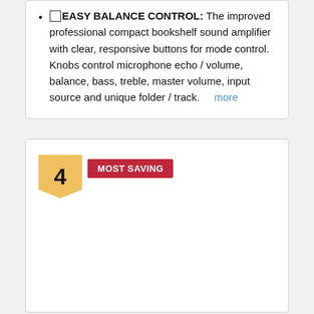☑EASY BALANCE CONTROL: The improved professional compact bookshelf sound amplifier with clear, responsive buttons for mode control. Knobs control microphone echo / volume, balance, bass, treble, master volume, input source and unique folder / track. more
4 MOST SAVING